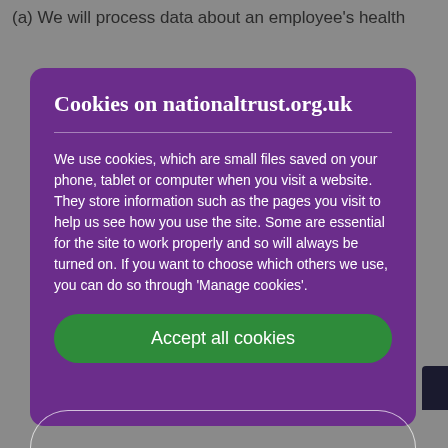(a) We will process data about an employee's health
Cookies on nationaltrust.org.uk
We use cookies, which are small files saved on your phone, tablet or computer when you visit a website. They store information such as the pages you visit to help us see how you use the site. Some are essential for the site to work properly and so will always be turned on. If you want to choose which others we use, you can do so through 'Manage cookies'.
Accept all cookies